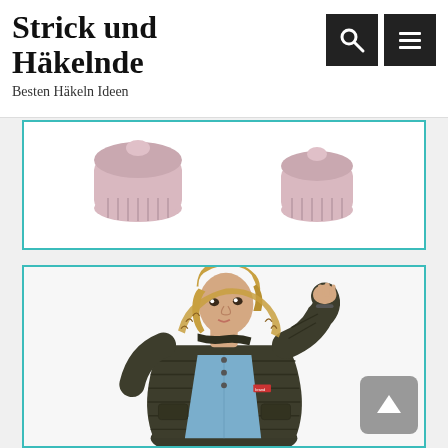Strick und Häkelnde
Besten Häkeln Ideen
[Figure (photo): Two pink knitted hats partially visible in a white card with teal border]
[Figure (photo): Young woman wearing a dark olive/khaki quilted winter coat with fur-trimmed hood, light blue denim shirt underneath, hand resting near face, on white background]